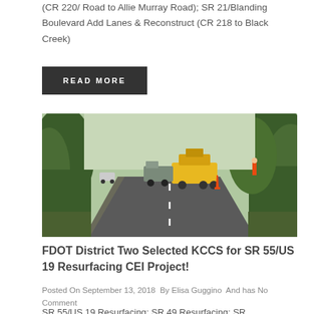(CR 220/ Road to Allie Murray Road); SR 21/Blanding Boulevard Add Lanes & Reconstruct (CR 218 to Black Creek)
READ MORE
[Figure (photo): Road resurfacing scene with paving equipment, construction vehicles on a two-lane road flanked by trees, with orange traffic cones visible]
FDOT District Two Selected KCCS for SR 55/US 19 Resurfacing CEI Project!
Posted On September 13, 2018  By Elisa Guggino  And has No Comment
SR 55/US 19 Resurfacing; SR 49 Resurfacing; SR